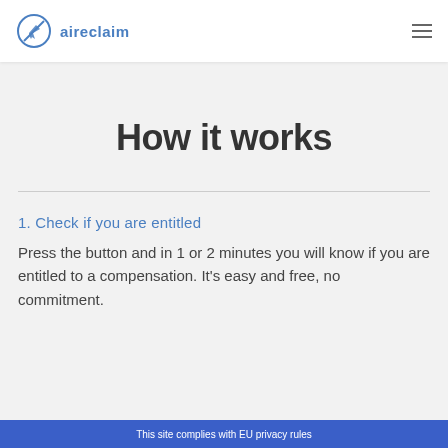aireclaim
How it works
1. Check if you are entitled
Press the button and in 1 or 2 minutes you will know if you are entitled to a compensation. It's easy and free, no commitment.
This site complies with EU privacy rules